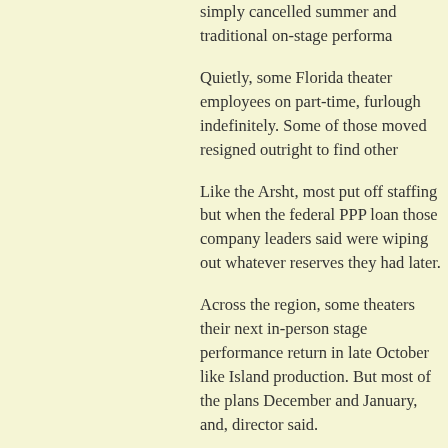simply cancelled summer and traditional on-stage performa…
Quietly, some Florida theate… employees on part-time, furl… indefinitely. Some of those m… resigned outright to find othe…
Like the Arsht, most put off s… but when the federal PPP lo… those company leaders said… wiping out whatever reserve… later.
Across the region, some the… their next in-person stage pe… return in late October like Isl… production. But most of the p… December and January, and… director said.
A few local companies, as o… water or planned to.